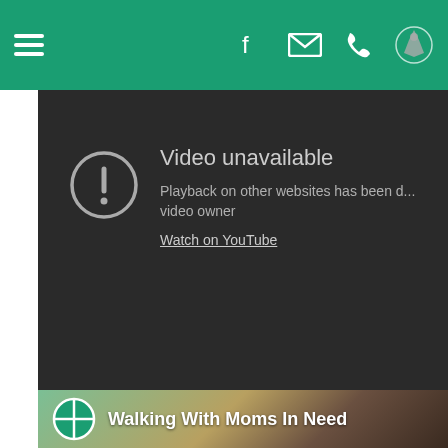Navigation bar with hamburger menu, Facebook, email, phone icons and bishop logo
[Figure (screenshot): YouTube video unavailable error screen on dark background. Shows exclamation mark in circle icon, text 'Video unavailable', 'Playback on other websites has been disabled by the video owner', and 'Watch on YouTube' link.]
[Figure (photo): Photo strip at bottom showing 'Walking With Moms In Need' with a green circle crosshair logo, over a photo of people outdoors.]